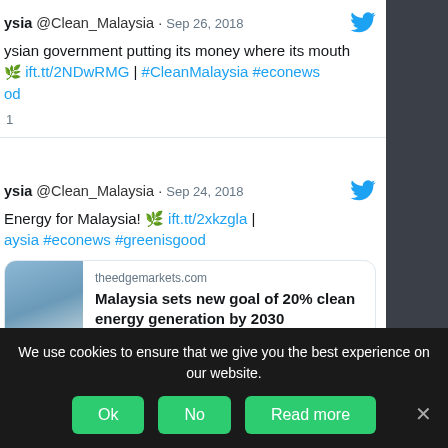ysia @Clean_Malaysia · Sep 26, 2018
ysian government putting its money where its mouth 🌿 ift.tt/2NDwRMG | #CleanMalaysia #econews od
1
ysia @Clean_Malaysia · Sep 24, 2018
Energy for Malaysia! 🌿 ift.tt/2xkzgla | aysia #econews #greenisgood
[Figure (screenshot): Link card preview from theedgemarkets.com showing article: Malaysia sets new goal of 20% clean energy generation by 2030. KUALA LUMPUR (Sept 18): The Energy...]
We use cookies to ensure that we give you the best experience on our website.
Ok  No  Read more